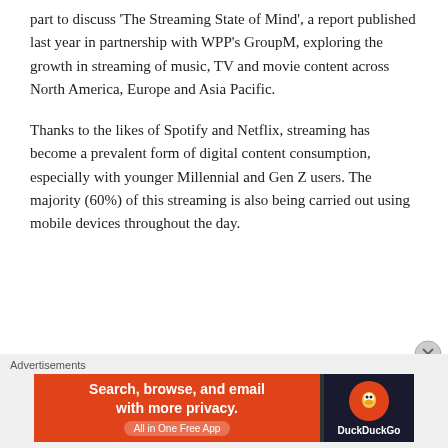part to discuss 'The Streaming State of Mind', a report published last year in partnership with WPP's GroupM, exploring the growth in streaming of music, TV and movie content across North America, Europe and Asia Pacific.
Thanks to the likes of Spotify and Netflix, streaming has become a prevalent form of digital content consumption, especially with younger Millennial and Gen Z users. The majority (60%) of this streaming is also being carried out using mobile devices throughout the day.
[Figure (other): DuckDuckGo advertisement banner: 'Search, browse, and email with more privacy. All in One Free App' with DuckDuckGo logo on dark background]